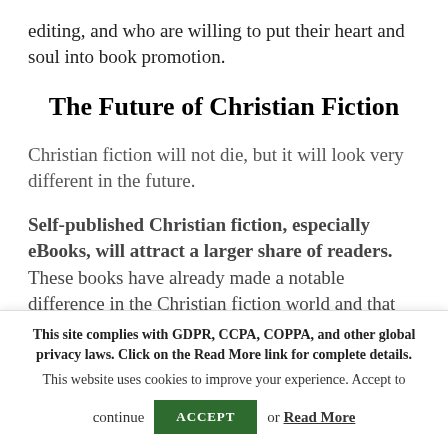editing, and who are willing to put their heart and soul into book promotion.
The Future of Christian Fiction
Christian fiction will not die, but it will look very different in the future.
Self-published Christian fiction, especially eBooks, will attract a larger share of readers. These books have already made a notable difference in the Christian fiction world and that trend is likely to continue. Indie
This site complies with GDPR, CCPA, COPPA, and other global privacy laws. Click on the Read More link for complete details. This website uses cookies to improve your experience. Accept to continue or Read More